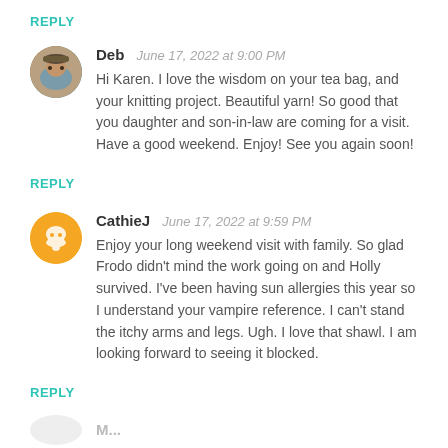REPLY
Deb  June 17, 2022 at 9:00 PM
Hi Karen. I love the wisdom on your tea bag, and your knitting project. Beautiful yarn! So good that you daughter and son-in-law are coming for a visit. Have a good weekend. Enjoy! See you again soon!
REPLY
CathieJ  June 17, 2022 at 9:59 PM
Enjoy your long weekend visit with family. So glad Frodo didn't mind the work going on and Holly survived. I've been having sun allergies this year so I understand your vampire reference. I can't stand the itchy arms and legs. Ugh. I love that shawl. I am looking forward to seeing it blocked.
REPLY
M...